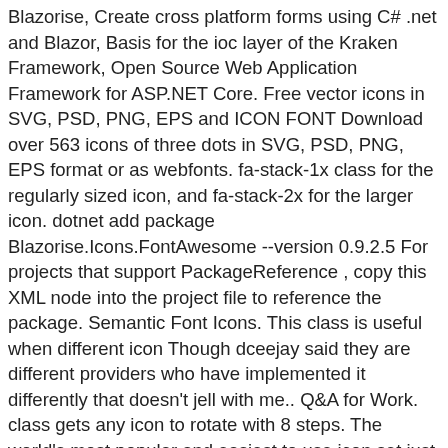Blazorise, Create cross platform forms using C# .net and Blazor, Basis for the ioc layer of the Kraken Framework, Open Source Web Application Framework for ASP.NET Core. Free vector icons in SVG, PSD, PNG, EPS and ICON FONT Download over 563 icons of three dots in SVG, PSD, PNG, EPS format or as webfonts. fa-stack-1x class for the regularly sized icon, and fa-stack-2x for the larger icon. dotnet add package Blazorise.Icons.FontAwesome --version 0.9.2.5 For projects that support PackageReference , copy this XML node into the project file to reference the package. Semantic Font Icons. This class is useful when different icon Though dceejay said they are different providers who have implemented it differently that doesn't jell with me.. Q&A for Work. class gets any icon to rotate with 8 steps. The world's most popular and easiest to use icon set just got an upgrade. The bento-menu icon — named this way by other people in the same idea of the hamburger menu — is made of 9 little dots (or squares) organised in a perfect square. On that page, find where it says: Unicode: f004. Especially useful in Bootstrap's navlists and list groups. The fa-inverse class can be used as an alternative icon color. fa-4x, or fa-5x classes are used to increase the icon sizes relative to their container. Example of minus-square. Added. Font Awesome is a pack of more than 600 vector icons that you can use for all kinds of purposes. The fa-inverse class can be